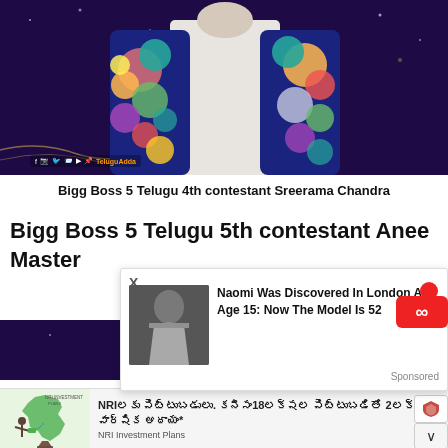[Figure (photo): Person wearing a floral embroidered jacket/cardigan over a white shirt, on a purple/dark background with social media icons (Facebook, Instagram, Twitter, Telegram, YouTube, Pinterest) and 'TeluguAdda' brand text.]
Bigg Boss 5 Telugu 4th contestant Sreerama Chandra
Bigg Boss 5 Telugu 5th contestant Anee Master
[Figure (screenshot): Advertisement overlay with X close button. Shows a black and white photo of a woman in a white dress. Ad text: 'Naomi Was Discovered In London At Age 15: Now The Model Is 52'. Sponsored label at bottom right.]
[Figure (photo): Infinity/loop symbol logo in red with a red dot, displayed as an icon overlay on the right side.]
[Figure (photo): Partial view of a person on a purple/dark Bigg Boss styled background, bottom portion of the main content area.]
[Figure (advertisement): Bottom advertisement banner with NRI Investment Plans. Left side shows illustration of a person watering a tree growing out of a pot shaped like the map of India on a light green background. Ad text in Telugu: 'NRIలకు పెట్టుబడులు. కనీసం18లక్షల పెట్టుబడితో 2లక్షల వార్షిక ఆదాయం*'. Sub-label: 'NRI Investment Plans'.]